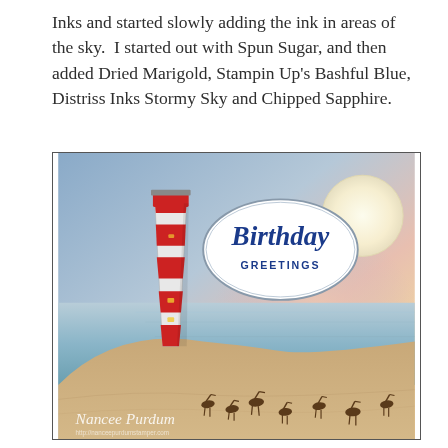Inks and started slowly adding the ink in areas of the sky.  I started out with Spun Sugar, and then added Dried Marigold, Stampin Up's Bashful Blue, Distriss Inks Stormy Sky and Chipped Sapphire.
[Figure (illustration): A handmade birthday card illustration showing a red-and-white striped lighthouse on a sandy dune at sunset. The sky is softly blended with blues, pinks, and yellows. A large moon glows in the upper right. An oval badge reads 'Birthday GREETINGS' in script and block letters. Several shorebirds stand on the sand. The watermark 'Nancee Purdum' appears at the bottom left.]